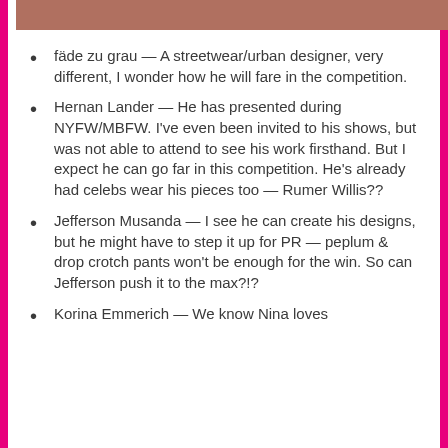[Figure (photo): Partial photo strip visible at the top of the page showing fashion-related imagery]
fäde zu grau — A streetwear/urban designer, very different, I wonder how he will fare in the competition.
Hernan Lander — He has presented during NYFW/MBFW. I've even been invited to his shows, but was not able to attend to see his work firsthand. But I expect he can go far in this competition. He's already had celebs wear his pieces too — Rumer Willis??
Jefferson Musanda — I see he can create his designs, but he might have to step it up for PR — peplum & drop crotch pants won't be enough for the win. So can Jefferson push it to the max?!?
Korina Emmerich — We know Nina loves